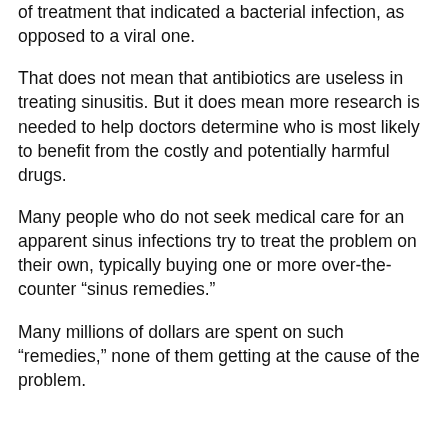of treatment that indicated a bacterial infection, as opposed to a viral one.
That does not mean that antibiotics are useless in treating sinusitis. But it does mean more research is needed to help doctors determine who is most likely to benefit from the costly and potentially harmful drugs.
Many people who do not seek medical care for an apparent sinus infections try to treat the problem on their own, typically buying one or more over-the-counter "sinus remedies."
Many millions of dollars are spent on such "remedies," none of them getting at the cause of the problem.
So What Is Sinusitis?
Sinusitis is simply an inflammation of the lining of the sinus